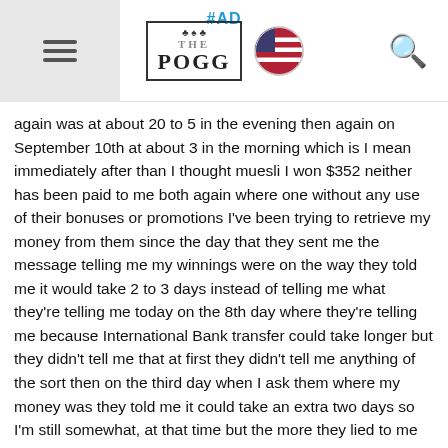#AD THE POGG [US flag icon] [search icon]
again was at about 20 to 5 in the evening then again on September 10th at about 3 in the morning which is I mean immediately after than I thought muesli I won $352 neither has been paid to me both again where one without any use of their bonuses or promotions I've been trying to retrieve my money from them since the day that they sent me the message telling me my winnings were on the way they told me it would take 2 to 3 days instead of telling me what they're telling me today on the 8th day where they're telling me because International Bank transfer could take longer but they didn't tell me that at first they didn't tell me anything of the sort then on the third day when I ask them where my money was they told me it could take an extra two days so I'm still somewhat, at that time but the more they lied to me the more upset I got and the more I had to listen to that automated system of theirs it just makes people more angry and hope that people will give up while on the United States Marine I'm disabled because of it and this is what I have to deal with are UK casino that states that it's Canadian one of the only reasons I played it was because they said they were Canadian so I figured it